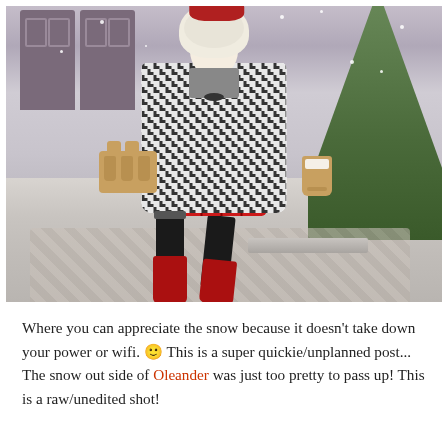[Figure (photo): A virtual avatar character (Second Life or similar) wearing a houndstooth coat, red plaid mini skirt, black thigh-high stockings, red knee-high boots, and a red beret, carrying a coffee cup carrier and a coffee cup, walking on a snowy cobblestone street with a building door and evergreen tree in the background.]
Where you can appreciate the snow because it doesn't take down your power or wifi. 🙂 This is a super quickie/unplanned post... The snow out side of Oleander was just too pretty to pass up! This is a raw/unedited shot!